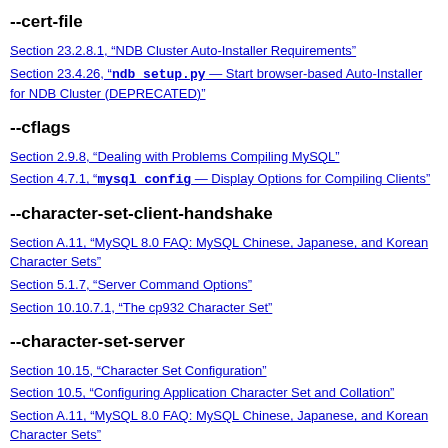--cert-file
Section 23.2.8.1, “NDB Cluster Auto-Installer Requirements”
Section 23.4.26, “ndb_setup.py — Start browser-based Auto-Installer for NDB Cluster (DEPRECATED)”
--cflags
Section 2.9.8, “Dealing with Problems Compiling MySQL”
Section 4.7.1, “mysql_config — Display Options for Compiling Clients”
--character-set-client-handshake
Section A.11, “MySQL 8.0 FAQ: MySQL Chinese, Japanese, and Korean Character Sets”
Section 5.1.7, “Server Command Options”
Section 10.10.7.1, “The cp932 Character Set”
--character-set-server
Section 10.15, “Character Set Configuration”
Section 10.5, “Configuring Application Character Set and Collation”
Section A.11, “MySQL 8.0 FAQ: MySQL Chinese, Japanese, and Korean Character Sets”
Section 10.3.2, “Server Character Set and Collation”
--character-sets-dir